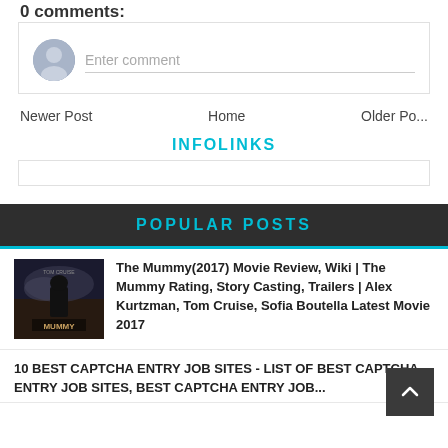0 comments:
[Figure (other): User avatar placeholder circle icon for comment input]
Enter comment
Newer Post
Home
Older Po...
INFOLINKS
POPULAR POSTS
[Figure (photo): The Mummy 2017 movie poster thumbnail showing a dark figure against a dramatic sky]
The Mummy(2017) Movie Review, Wiki | The Mummy Rating, Story Casting, Trailers | Alex Kurtzman, Tom Cruise, Sofia Boutella Latest Movie 2017
10 BEST CAPTCHA ENTRY JOB SITES - LIST OF BEST CAPTCHA ENTRY JOB SITES, BEST CAPTCHA ENTRY JOB...